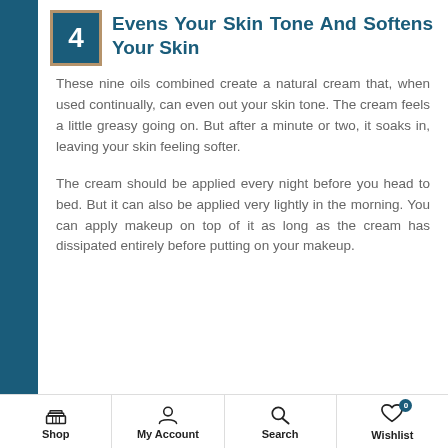4 Evens Your Skin Tone And Softens Your Skin
These nine oils combined create a natural cream that, when used continually, can even out your skin tone. The cream feels a little greasy going on. But after a minute or two, it soaks in, leaving your skin feeling softer.
The cream should be applied every night before you head to bed. But it can also be applied very lightly in the morning. You can apply makeup on top of it as long as the cream has dissipated entirely before putting on your makeup.
[Figure (infographic): Banner image with dark teal background showing text 'PERKS OF BEL ESSENCE' with a face photo on the right side]
Shop | My Account | Search | Wishlist (0)